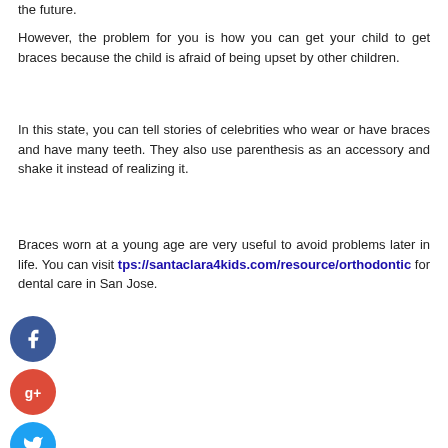the future.
However, the problem for you is how you can get your child to get braces because the child is afraid of being upset by other children.
In this state, you can tell stories of celebrities who wear or have braces and have many teeth. They also use parenthesis as an accessory and shake it instead of realizing it.
Braces worn at a young age are very useful to avoid problems later in life. You can visit https://santaclara4kids.com/resource/orthodontic for dental care in San Jose.
[Figure (illustration): Social media share buttons: Facebook (blue circle with f), Google+ (red circle with g+), Twitter (blue circle with bird), Add/more (dark blue circle with +)]